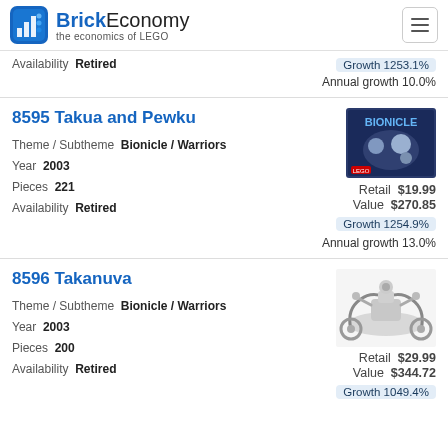BrickEconomy — the economics of LEGO
Availability  Retired | Growth 1253.1% | Annual growth 10.0%
8595 Takua and Pewku
Theme / Subtheme  Bionicle / Warriors
Year  2003
Pieces  221
Availability  Retired
Retail  $19.99
Value  $270.85
Growth 1254.9%
Annual growth 13.0%
8596 Takanuva
Theme / Subtheme  Bionicle / Warriors
Year  2003
Pieces  200
Availability  Retired
Retail  $29.99
Value  $344.72
Growth 1049.4%